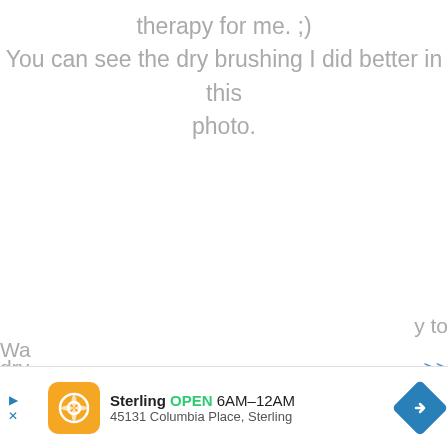therapy for me. ;)
You can see the dry brushing I did better in this photo.
Wa... ...y to
dry... ...>>
[Figure (other): Advertisement banner for Sterling restaurant: orange logo icon, text 'Sterling OPEN 6AM–12AM 45131 Columbia Place, Sterling', blue diamond navigation arrow]